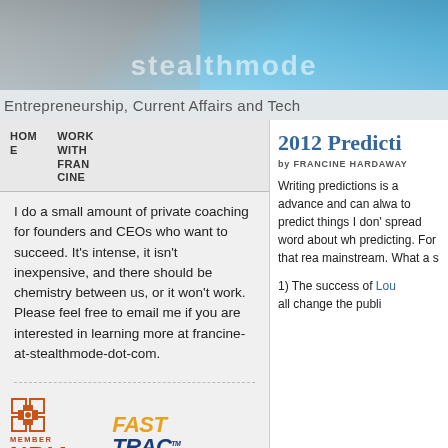[Figure (photo): Website header banner with building/skyline imagery and partial logo text visible]
Entrepreneurship, Current Affairs and Tech
HOME
WORK WITH FRANCINE
I do a small amount of private coaching for founders and CEOs who want to succeed. It's intense, it isn't inexpensive, and there should be chemistry between us, or it won't work. Please feel free to email me if you are interested in learning more at francine-at-stealthmode-dot-com.
[Figure (logo): NBIA Member - National Business Incubation Association logo in orange/red]
[Figure (logo): FastTrac - Take Charge of Your Business logo in blue and yellow/orange]
2012 Predicti
by FRANCINE HARDAWAY
Writing predictions is a advance and can alwa to predict things I don' spread word about wh predicting. For that rea mainstream. What a s
1) The success of Lou all change the publi